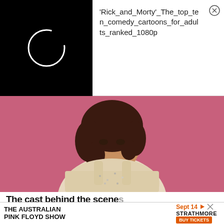[Figure (screenshot): Video thumbnail popup showing a black background with a white circular loading spinner icon, accompanied by text 'Rick_and_Morty'_The_top_ten_comedy_cartoons_for_adults_ranked_1080p' and a close (X) button]
[Figure (photo): Promotional photo of a woman with curly dark hair wearing a sparkly floral dress, posed against a pink background]
The cast behind the scenes
[Figure (infographic): Advertisement banner for 'The Australian Pink Floyd Show' with date Sept 14, venue STRATHMORE, and BUY TICKETS button]